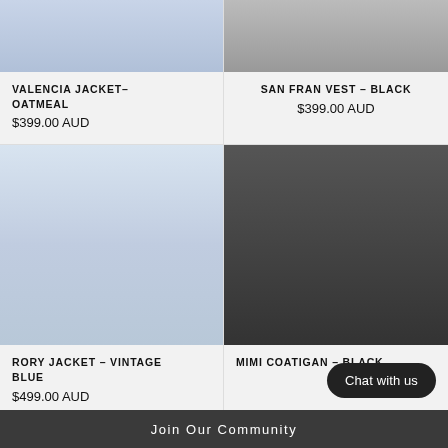[Figure (photo): Cropped product photo showing bottom half of model wearing denim jeans - Valencia Jacket Oatmeal product]
VALENCIA JACKET–OATMEAL
$399.00 AUD
[Figure (photo): Cropped product photo showing model wearing black vest - San Fran Vest Black product]
SAN FRAN VEST – BLACK
$399.00 AUD
[Figure (photo): Model wearing light blue denim jacket over white top with jeans - Rory Jacket Vintage Blue]
RORY JACKET – VINTAGE BLUE
$499.00 AUD
[Figure (photo): Model wearing long black coatigan over striped top - Mimi Coatigan Black]
MIMI COATIGAN – BLACK
Chat with us
Join Our Community